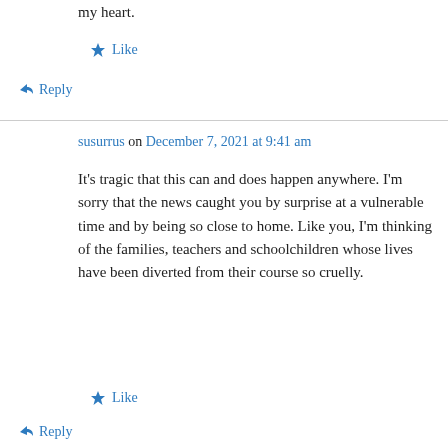my heart.
★ Like
↪ Reply
susurrus on December 7, 2021 at 9:41 am
It's tragic that this can and does happen anywhere. I'm sorry that the news caught you by surprise at a vulnerable time and by being so close to home. Like you, I'm thinking of the families, teachers and schoolchildren whose lives have been diverted from their course so cruelly.
★ Like
↪ Reply